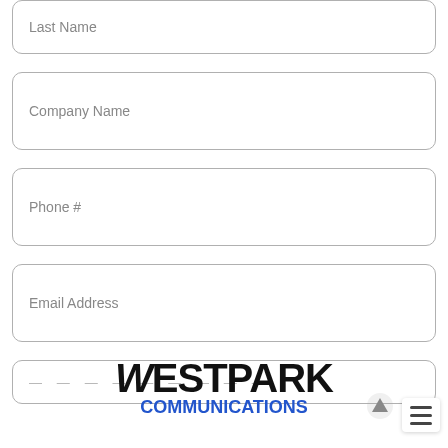Last Name
Company Name
Phone #
Email Address
— — — — — — — — — — —
[Figure (logo): Westpark Communications logo with WESTPARK in bold black and COMMUNICATIONS in bold blue below]
[Figure (other): Scroll-to-top arrow icon (grey upward arrow)]
[Figure (other): Hamburger menu button with three horizontal bars]